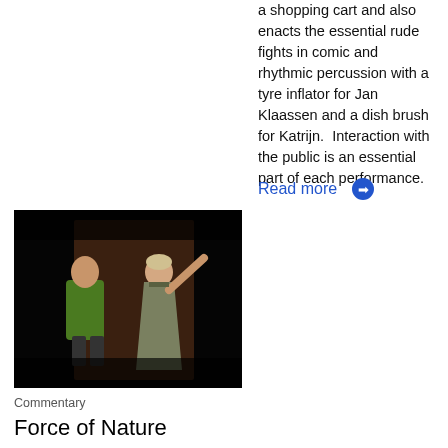a shopping cart and also enacts the essential rude fights in comic and rhythmic percussion with a tyre inflator for Jan Klaassen and a dish brush for Katrijn.  Interaction with the public is an essential part of each performance.
Read more →
[Figure (photo): Two performers on a dark stage; a man in a green shirt stands to the left and a woman in a grey dress gestures with her right arm raised on the right.]
Commentary
Force of Nature
by McPherson, Katrina